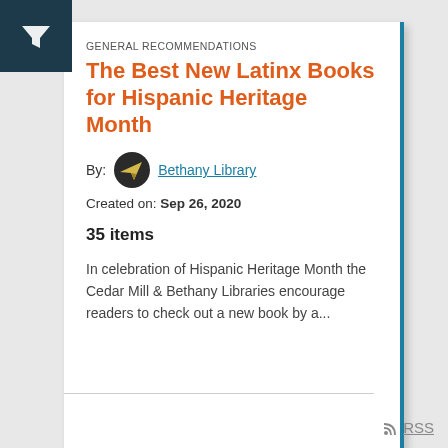[Figure (logo): Dark teal filter/funnel icon on dark navy background, top-left corner]
GENERAL RECOMMENDATIONS
The Best New Latinx Books for Hispanic Heritage Month
By: Bethany Library
Created on: Sep 26, 2020
35 items
In celebration of Hispanic Heritage Month the Cedar Mill & Bethany Libraries encourage readers to check out a new book by a...
2 likes
RSS